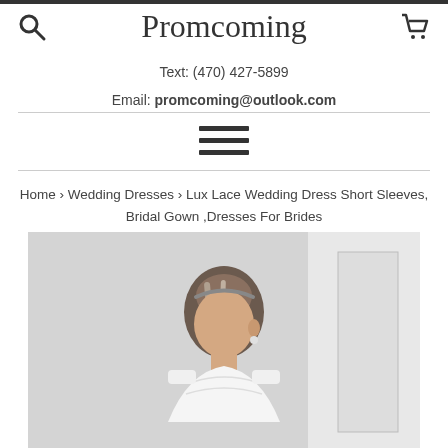Promcoming
Text: (470) 427-5899
Email: promcoming@outlook.com
Home › Wedding Dresses › Lux Lace Wedding Dress Short Sleeves, Bridal Gown ,Dresses For Brides
[Figure (photo): Product photo of a bride wearing a lace wedding dress with short sleeves, shown from shoulders up with hair accessory.]